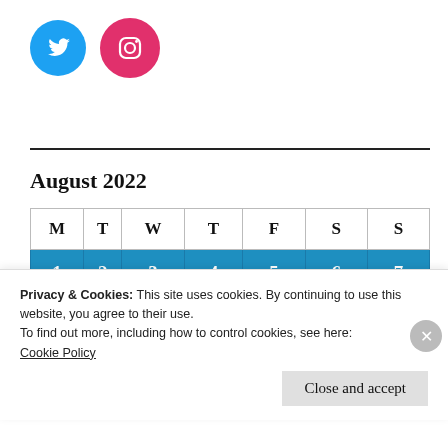[Figure (logo): Twitter bird icon (blue circle) and Instagram camera icon (pink circle)]
August 2022
| M | T | W | T | F | S | S |
| --- | --- | --- | --- | --- | --- | --- |
| 1 | 2 | 3 | 4 | 5 | 6 | 7 |
| 8 | 9 | 10 | 11 | 12 | 13 | 14 |
Privacy & Cookies: This site uses cookies. By continuing to use this website, you agree to their use.
To find out more, including how to control cookies, see here:
Cookie Policy
Close and accept